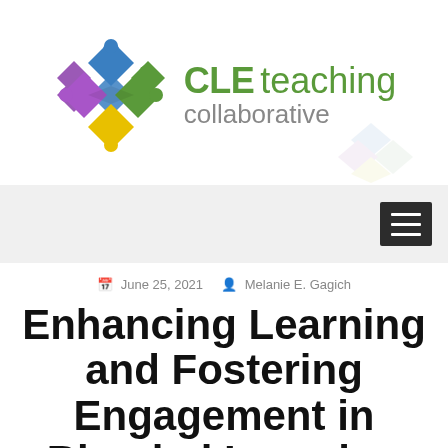[Figure (logo): CLE Teaching Collaborative logo with colorful puzzle pieces and green text]
June 25, 2021   Melanie E. Gagich
Enhancing Learning and Fostering Engagement in Blended Learning Environments using Free...